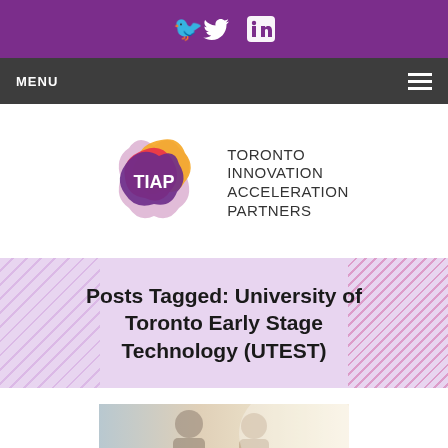Twitter and LinkedIn social icons
MENU
[Figure (logo): TIAP - Toronto Innovation Acceleration Partners logo with colorful star shape and text]
Posts Tagged: University of Toronto Early Stage Technology (UTEST)
[Figure (photo): Two people in a bright office setting, partially visible at the bottom of the page]